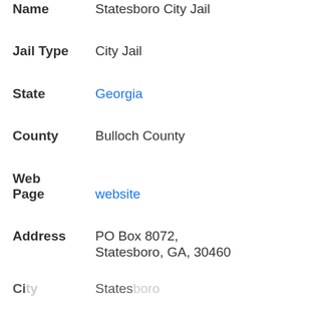Jail Name: Statesboro City Jail
Jail Type: City Jail
State: Georgia
County: Bulloch County
Web Page: website
Address: PO Box 8072, Statesboro, GA, 30460
City: Statesboro